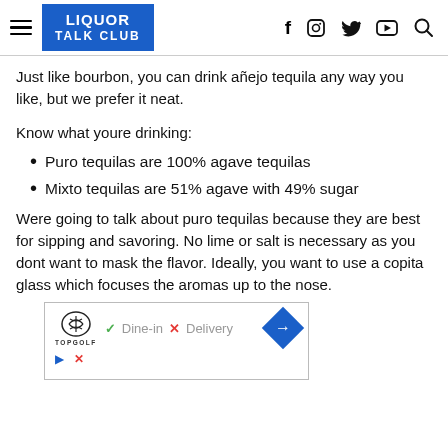LIQUOR TALK CLUB
Just like bourbon, you can drink añejo tequila any way you like, but we prefer it neat.
Know what youre drinking:
Puro tequilas are 100% agave tequilas
Mixto tequilas are 51% agave with 49% sugar
Were going to talk about puro tequilas because they are best for sipping and savoring. No lime or salt is necessary as you dont want to mask the flavor. Ideally, you want to use a copita glass which focuses the aromas up to the nose.
[Figure (screenshot): Advertisement banner from Topgolf showing logo with Dine-in checkbox and Delivery with X mark, and a blue diamond arrow icon]